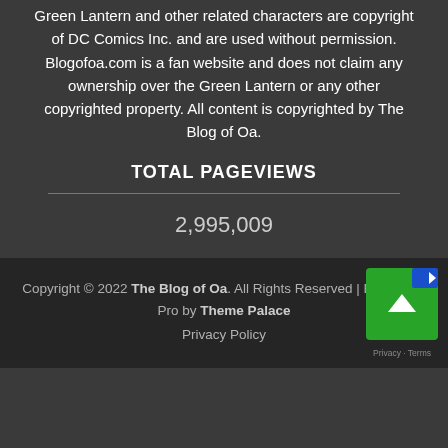Green Lantern and other related characters are copyright of DC Comics Inc. and are used without permission. Blogofoa.com is a fan website and does not claim any ownership over the Green Lantern or any other copyrighted property. All content is copyrighted by The Blog of Oa.
TOTAL PAGEVIEWS
2,995,009
Copyright © 2022 The Blog of Oa. All Rights Reserved | Blog Diary Pro by Theme Palace Privacy Policy